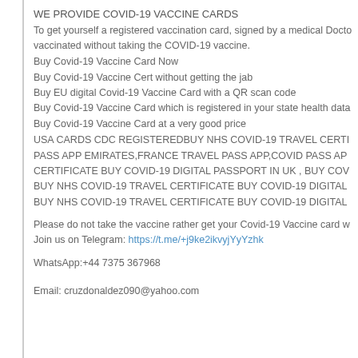WE PROVIDE COVID-19 VACCINE CARDS
To get yourself a registered vaccination card, signed by a medical Doctor vaccinated without taking the COVID-19 vaccine.
Buy Covid-19 Vaccine Card Now
Buy Covid-19 Vaccine Cert without getting the jab
Buy EU digital Covid-19 Vaccine Card with a QR scan code
Buy Covid-19 Vaccine Card which is registered in your state health data
Buy Covid-19 Vaccine Card at a very good price
USA CARDS CDC REGISTEREDBUY NHS COVID-19 TRAVEL CERTI PASS APP EMIRATES,FRANCE TRAVEL PASS APP,COVID PASS APP CERTIFICATE BUY COVID-19 DIGITAL PASSPORT IN UK , BUY COV BUY NHS COVID-19 TRAVEL CERTIFICATE BUY COVID-19 DIGITAL BUY NHS COVID-19 TRAVEL CERTIFICATE BUY COVID-19 DIGITAL
Please do not take the vaccine rather get your Covid-19 Vaccine card w
Join us on Telegram: https://t.me/+j9ke2ikvyjYyYzhk
WhatsApp:+44 7375 367968
Email: cruzdonaldez090@yahoo.com